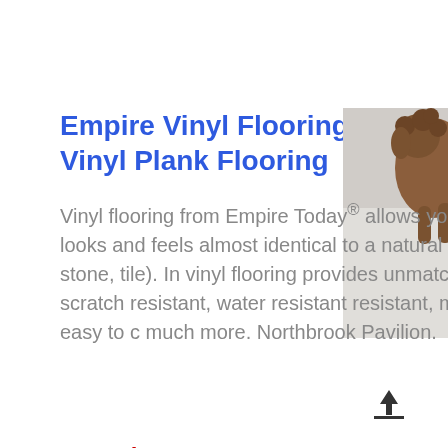Empire Vinyl Flooring & Vinyl Plank Flooring
[Figure (photo): Photo of a dog (poodle) sitting on a light gray vinyl floor next to a gray bucket or container]
Vinyl flooring from Empire Today® allows you to get a floor that looks and feels almost identical to a natural material (wood, stone, tile). In vinyl flooring provides unmatched pra it is scratch resistant, water resistant resistant, mildew resistant, easy to c much more. Northbrook Pavilion.
Get price